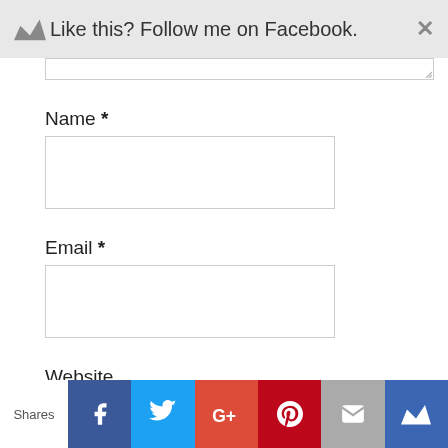Like this? Follow me on Facebook.
Name *
[Figure (other): Name input field (empty text box)]
Email *
[Figure (other): Email input field (empty text box)]
Website
[Figure (other): Website input field (empty text box)]
Shares — Facebook, Twitter, Google+, Pinterest, Email, Crown share buttons